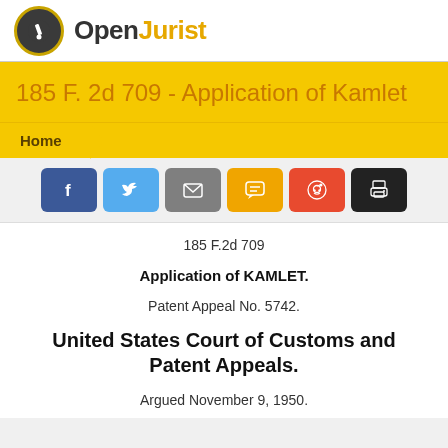OpenJurist
185 F. 2d 709 - Application of Kamlet
Home
[Figure (infographic): Social sharing buttons: Facebook, Twitter, Email, SMS, Reddit, Print]
185 F.2d 709
Application of KAMLET.
Patent Appeal No. 5742.
United States Court of Customs and Patent Appeals.
Argued November 9, 1950.